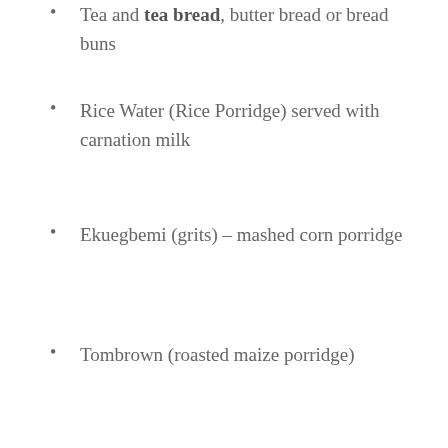Tea and tea bread, butter bread or bread buns
Rice Water (Rice Porridge) served with carnation milk
Ekuegbemi (grits) – mashed corn porridge
Tombrown (roasted maize porridge)
SNACKS & SIDES
The Bakery
Flaky pastry pies and fried dough (the Ghanaian equivalent to doughnuts) are on top of the list with an assortment of tastes, shapes, textures and fillings, eating as snacks